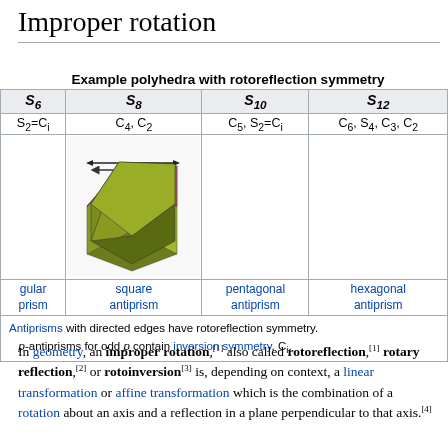Improper rotation
| S6 | S8 | S10 | S12 |
| --- | --- | --- | --- |
| S2=Ci | C4, C2 | C5, S2=Ci | C6, S4, C3, C2 |
| [image: square antiprism] |  |  |  |
| gular prism | square antiprism | pentagonal antiprism | hexagonal antiprism |
Antiprisms with directed edges have rotoreflection symmetry. p-antiprisms for odd p contain inversion symmetry, Ci.
In geometry, an improper rotation,[1] also called rotoreflection,[1] rotary reflection,[2] or rotoinversion[3] is, depending on context, a linear transformation or affine transformation which is the combination of a rotation about an axis and a reflection in a plane perpendicular to that axis.[4]